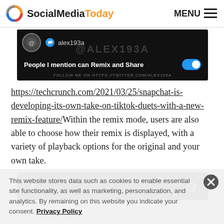SocialMediaToday  MENU
[Figure (screenshot): Snapchat app screenshot showing user alex193a with 'People I mention can Remix and Share' toggle enabled and watermark text '@ALEX193A. FOLLOW ME ON HTTPS://TWITTER.COM/ALEX193A']
https://techcrunch.com/2021/03/25/snapchat-is-developing-its-own-take-on-tiktok-duets-with-a-new-remix-feature/Within the remix mode, users are also able to choose how their remix is displayed, with a variety of playback options for the original and your own take.
[Figure (screenshot): Partial screenshot showing interface controls (back arrow and refresh icon)]
This website stores data such as cookies to enable essential site functionality, as well as marketing, personalization, and analytics. By remaining on this website you indicate your consent. Privacy Policy